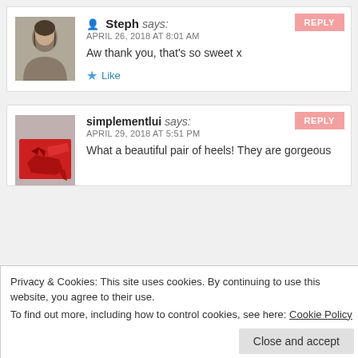Steph says: APRIL 26, 2018 AT 8:01 AM
Aw thank you, that's so sweet x
Like
REPLY
simplementlui says: APRIL 29, 2018 AT 5:51 PM
What a beautiful pair of heels! They are gorgeous
REPLY
Privacy & Cookies: This site uses cookies. By continuing to use this website, you agree to their use.
To find out more, including how to control cookies, see here: Cookie Policy
Close and accept